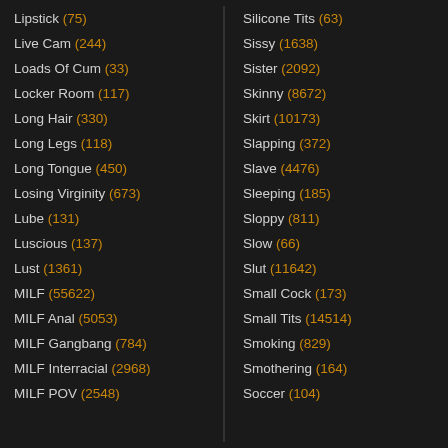Lipstick (75)
Live Cam (244)
Loads Of Cum (33)
Locker Room (117)
Long Hair (330)
Long Legs (118)
Long Tongue (450)
Losing Virginity (673)
Lube (131)
Luscious (137)
Lust (1361)
MILF (55622)
MILF Anal (5053)
MILF Gangbang (784)
MILF Interracial (2968)
MILF POV (2548)
Silicone Tits (63)
Sissy (1638)
Sister (2092)
Skinny (8672)
Skirt (10173)
Slapping (372)
Slave (4476)
Sleeping (185)
Sloppy (811)
Slow (66)
Slut (11642)
Small Cock (173)
Small Tits (14514)
Smoking (829)
Smothering (164)
Soccer (104)